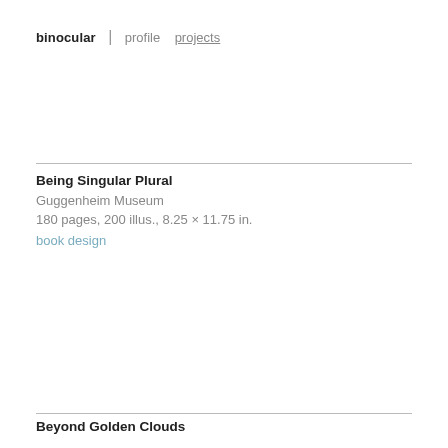binocular | profile projects
Being Singular Plural
Guggenheim Museum
180 pages, 200 illus., 8.25 × 11.75 in.
book design
Beyond Golden Clouds